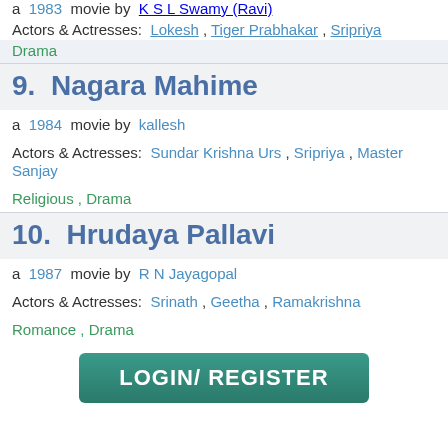a 1983 movie by K S L Swamy (Ravi)
Actors & Actresses: Lokesh , Tiger Prabhakar , Sripriya
Drama
9. Nagara Mahime
a 1984 movie by kallesh
Actors & Actresses: Sundar Krishna Urs , Sripriya , Master Sanjay
Religious , Drama
10. Hrudaya Pallavi
a 1987 movie by R N Jayagopal
Actors & Actresses: Srinath , Geetha , Ramakrishna
Romance , Drama
LOGIN/ REGISTER